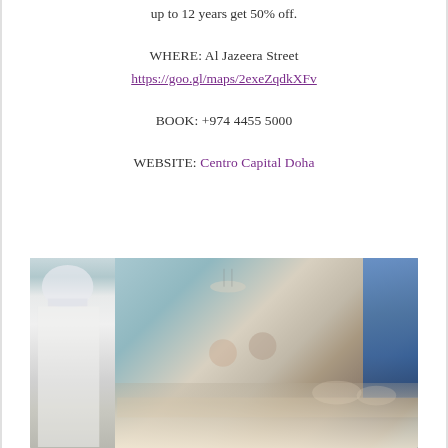up to 12 years get 50% off.
WHERE: Al Jazeera Street
https://goo.gl/maps/2exeZqdkXFv
BOOK: +974 4455 5000
WEBSITE: Centro Capital Doha
[Figure (photo): Restaurant interior photo showing a chef in white uniform on the left, diners seated at a table in the background, and a buffet spread in the foreground, with blue-tinted windows visible on the right side.]